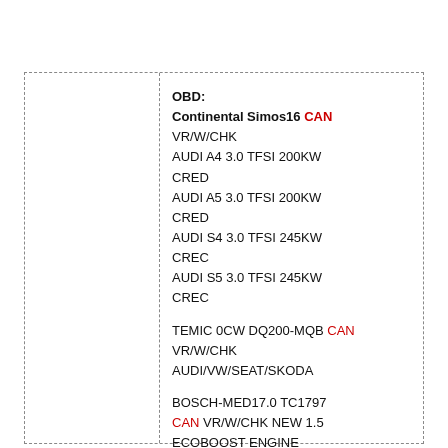OBD:
Continental Simos16 CAN
VR/W/CHK
AUDI A4 3.0 TFSI 200KW
CRED
AUDI A5 3.0 TFSI 200KW
CRED
AUDI S4 3.0 TFSI 245KW
CREC
AUDI S5 3.0 TFSI 245KW
CREC

TEMIC 0CW DQ200-MQB CAN
VR/W/CHK
AUDI/VW/SEAT/SKODA

BOSCH-MED17.0 TC1797
CAN VR/W/CHK NEW 1.5
ECOBOOST ENGINE